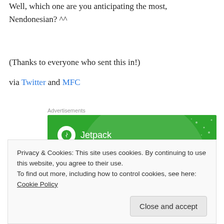Well, which one are you anticipating the most, Nendonesian? ^^
(Thanks to everyone who sent this in!)
via Twitter and MFC
[Figure (illustration): Jetpack advertisement banner with green background, Jetpack logo, and text 'The best real-time WordPress backup...']
Privacy & Cookies: This site uses cookies. By continuing to use this website, you agree to their use. To find out more, including how to control cookies, see here: Cookie Policy